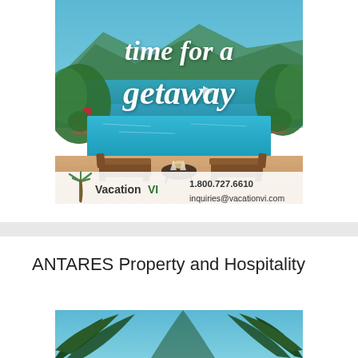[Figure (illustration): Vacation VI advertisement showing a tropical resort with infinity pool, ocean, and mountains in background. Text reads 'time for a getaway' in white script. Logo and contact info: VacationVI, 1.800.727.6610, inquiries@vacationvi.com]
ANTARES Property and Hospitality
[Figure (photo): Bottom portion of a tropical palm tree photo]